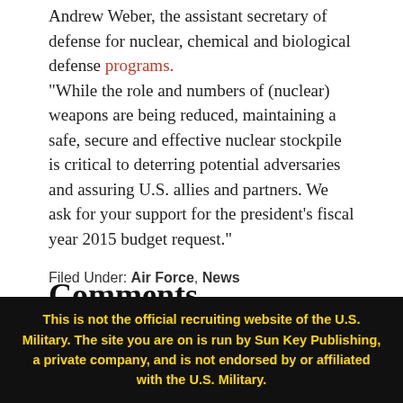Andrew Weber, the assistant secretary of defense for nuclear, chemical and biological defense programs. "While the role and numbers of (nuclear) weapons are being reduced, maintaining a safe, secure and effective nuclear stockpile is critical to deterring potential adversaries and assuring U.S. allies and partners. We ask for your support for the president’s fiscal year 2015 budget request."
Comments
Filed Under: Air Force, News
This is not the official recruiting website of the U.S. Military. The site you are on is run by Sun Key Publishing, a private company, and is not endorsed by or affiliated with the U.S. Military.